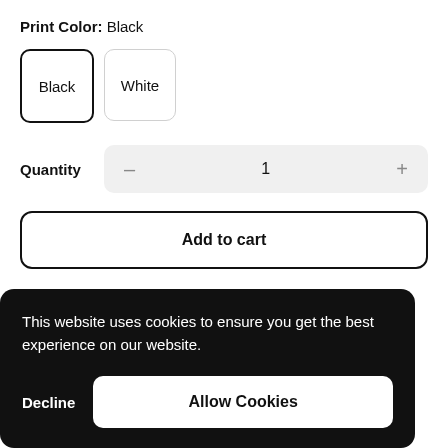Print Color: Black
Black
White
Quantity  –  1  +
Add to cart
This website uses cookies to ensure you get the best experience on our website.
Decline
Allow Cookies